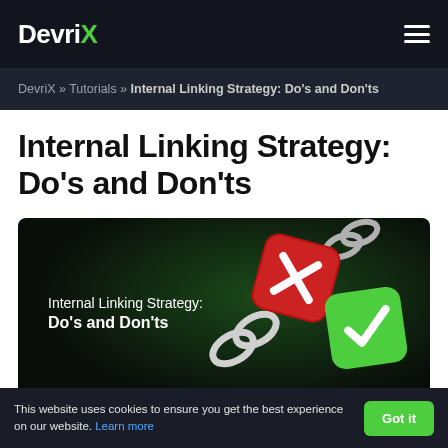DevriX
DevriX » Tutorials » Internal Linking Strategy: Do's and Don'ts
Internal Linking Strategy: Do's and Don'ts
[Figure (illustration): Hero banner with dark green background showing 3D icons: a red rounded square with an X mark, a green rounded square with a checkmark, and two chain link icons. Text overlay reads 'Internal Linking Strategy: Do's and Don'ts']
This website uses cookies to ensure you get the best experience on our website. Learn more